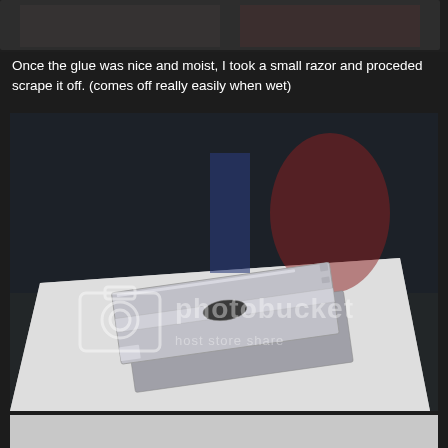[Figure (photo): Top portion of a photo showing a surface, cropped at top of page]
Once the glue was nice and moist, I took a small razor and proceded scrape it off. (comes off really easily when wet)
[Figure (photo): Photo of a metal razor blade/scraper sitting on a white surface on a dark table, with a Photobucket watermark overlay]
[Figure (photo): Bottom strip of another photo]